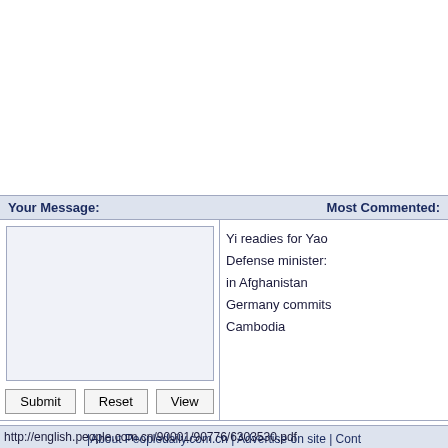Your Message:
Most Commented:
Yi readies for Yao
Defense minister: in Afghanistan
Germany commits
Cambodia
|About Peopledaily.com.cn | Advertise on site | Cont...
Copyright by People's Daily Online, All
http://english.people.com.cn/90001/90776/6303530.pdf